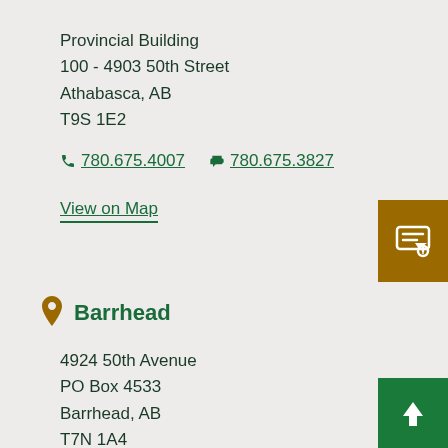Provincial Building
100 - 4903 50th Street
Athabasca, AB
T9S 1E2
780.675.4007  780.675.3827
View on Map
[Figure (other): Brown chat/feedback icon button in top right corner]
Barrhead
4924 50th Avenue
PO Box 4533
Barrhead, AB
T7N 1A4
780.674.8782  780.674.8787
[Figure (other): Green upward arrow button in bottom right corner]